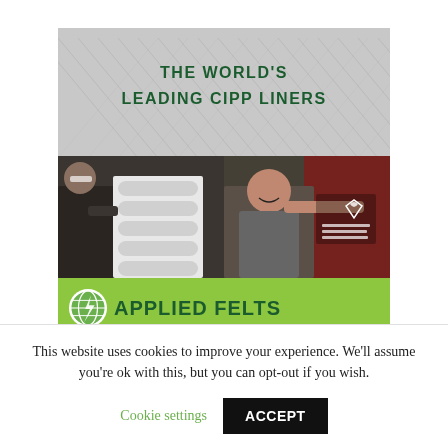[Figure (illustration): Applied Felts advertisement showing 'THE WORLD'S LEADING CIPP LINERS' with fiberglass texture background, two worker photos, and green brand bar at bottom with Applied Felts logo and name]
This website uses cookies to improve your experience. We'll assume you're ok with this, but you can opt-out if you wish.
Cookie settings
ACCEPT